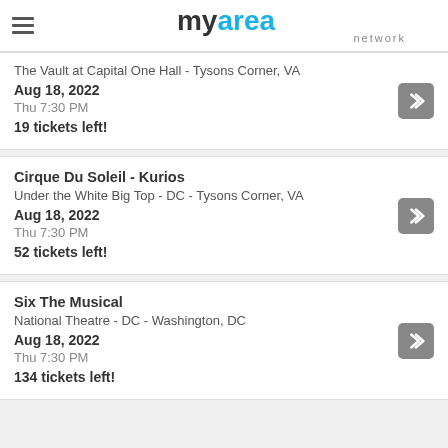myarea network
The Vault at Capital One Hall - Tysons Corner, VA
Aug 18, 2022
Thu 7:30 PM
19 tickets left!
Cirque Du Soleil - Kurios
Under the White Big Top - DC - Tysons Corner, VA
Aug 18, 2022
Thu 7:30 PM
52 tickets left!
Six The Musical
National Theatre - DC - Washington, DC
Aug 18, 2022
Thu 7:30 PM
134 tickets left!